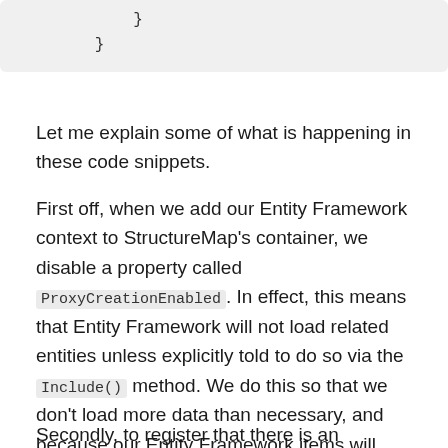}
}
Let me explain some of what is happening in these code snippets.
First off, when we add our Entity Framework context to StructureMap's container, we disable a property called ProxyCreationEnabled. In effect, this means that Entity Framework will not load related entities unless explicitly told to do so via the Include() method. We do this so that we don't load more data than necessary, and because our Entity Framework items will almost immediately get transferred into data transfer objects and then serialized into JSON, and we don't want any serialization problems.
Secondly, to register that there is an injecting the